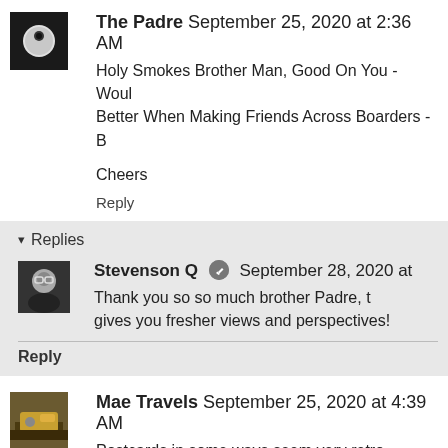[Figure (photo): Avatar of The Padre - dark image with white circular object]
The Padre September 25, 2020 at 2:36 AM
Holy Smokes Brother Man, Good On You - Would... Better When Making Friends Across Boarders - B...
Cheers
Reply
▾ Replies
[Figure (photo): Avatar of Stevenson Q - man with glasses]
Stevenson Q  September 28, 2020 at
Thank you so so much brother Padre, t... gives you fresher views and perspectives!
Reply
[Figure (photo): Avatar of Mae Travels - outdoor scene with machinery]
Mae Travels September 25, 2020 at 4:39 AM
Postcards in some ways seem very retro, becaus...